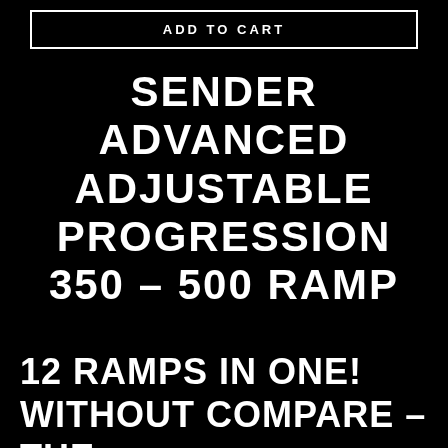ADD TO CART
SENDER ADVANCED ADJUSTABLE PROGRESSION 350 – 500 RAMP
12 RAMPS IN ONE! WITHOUT COMPARE – THE